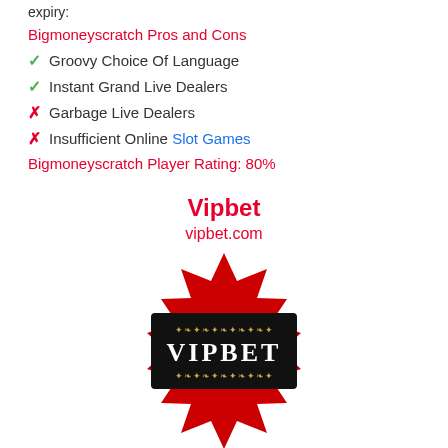expiry:
Bigmoneyscratch Pros and Cons
✓ Groovy Choice Of Language
✓ Instant Grand Live Dealers
✗ Garbage Live Dealers
✗ Insufficient Online Slot Games
Bigmoneyscratch Player Rating: 80%
Vipbet
vipbet.com
[Figure (logo): VipBet logo: red star-burst shape with black rectangle in center showing gold ornamental designs and text VIPBET in white letters]